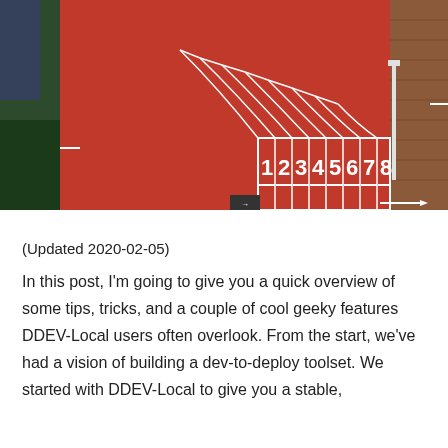[Figure (photo): Aerial view of a red athletic running track showing lanes numbered 1 through 8 with white lane markings and curved stagger lines]
(Updated 2020-02-05)
In this post, I'm going to give you a quick overview of some tips, tricks, and a couple of cool geeky features DDEV-Local users often overlook. From the start, we've had a vision of building a dev-to-deploy toolset. We started with DDEV-Local to give you a stable,